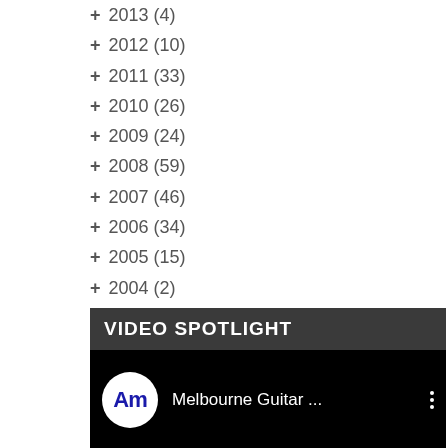+ 2013 (4)
+ 2012 (10)
+ 2011 (33)
+ 2010 (26)
+ 2009 (24)
+ 2008 (59)
+ 2007 (46)
+ 2006 (34)
+ 2005 (15)
+ 2004 (2)
+ 2003 (3)
+ 2002 (6)
+ 2000 (1)
VIDEO SPOTLIGHT
[Figure (screenshot): YouTube video player thumbnail showing Melbourne Guitar ... channel with AM logo avatar]